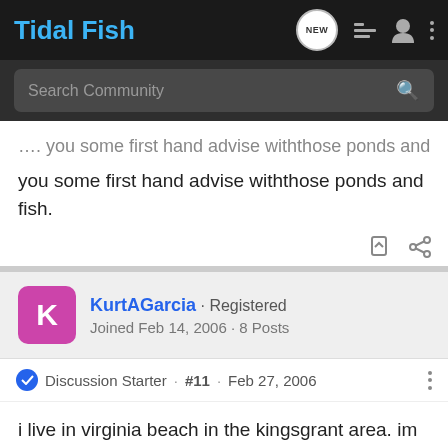Tidal Fish
Search Community
…. you some first hand advise withthose ponds and fish.
KurtAGarcia · Registered
Joined Feb 14, 2006 · 8 Posts
Discussion Starter · #11 · Feb 27, 2006
i live in virginia beach in the kingsgrant area. im not sure if that last post was directed twords me tho :\